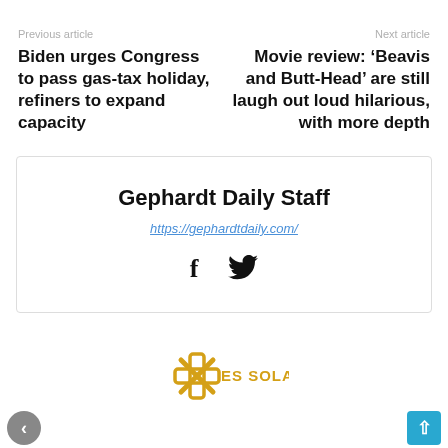Previous article
Next article
Biden urges Congress to pass gas-tax holiday, refiners to expand capacity
Movie review: ‘Beavis and Butt-Head’ are still laugh out loud hilarious, with more depth
Gephardt Daily Staff
https://gephardtdaily.com/
[Figure (logo): ES SOLAR logo with snowflake/asterisk icon in gold/yellow outline]
[Figure (illustration): Left scroll arrow button (grey circle) and right scroll/up arrow button (blue rounded square)]